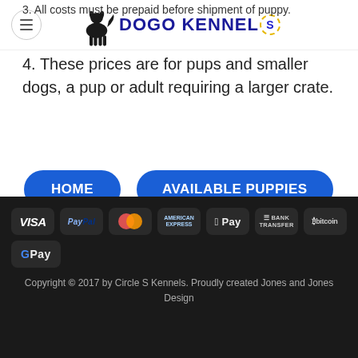DOGO KENNELS
3. All costs must be prepaid before shipment of puppy.
4. These prices are for pups and smaller dogs, a pup or adult requiring a larger crate.
HOME
AVAILABLE PUPPIES
[Figure (logo): Payment method logos: VISA, PayPal, MasterCard, American Express, Apple Pay, Bank Transfer, Bitcoin, G Pay]
Copyright © 2017 by Circle S Kennels. Proudly created Jones and Jones Design